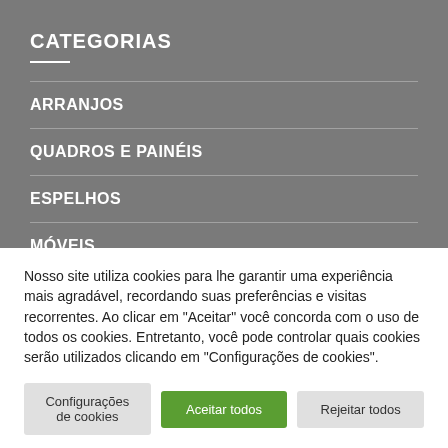CATEGORIAS
ARRANJOS
QUADROS E PAINÉIS
ESPELHOS
MÓVEIS
Nosso site utiliza cookies para lhe garantir uma experiência mais agradável, recordando suas preferências e visitas recorrentes. Ao clicar em "Aceitar" você concorda com o uso de todos os cookies. Entretanto, você pode controlar quais cookies serão utilizados clicando em "Configurações de cookies".
Configurações de cookies | Aceitar todos | Rejeitar todos